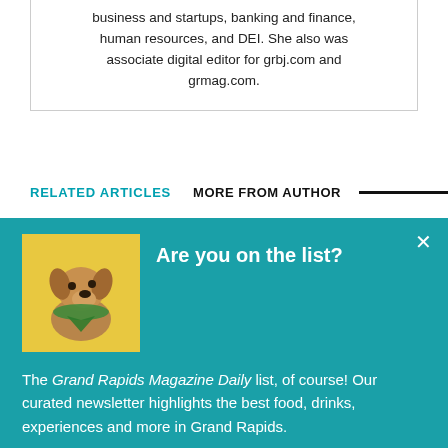business and startups, banking and finance, human resources, and DEI. She also was associate digital editor for grbj.com and grmag.com.
RELATED ARTICLES   MORE FROM AUTHOR
[Figure (photo): Thumbnail image for article about secret soirée returning to Grand Rapids]
Secret soirée to return to Grand Rapids
[Figure (photo): Dog wearing a green bandana on a yellow background — newsletter signup popup image]
Are you on the list?
The Grand Rapids Magazine Daily list, of course! Our curated newsletter highlights the best food, drinks, experiences and more in Grand Rapids.
Add me to the list!